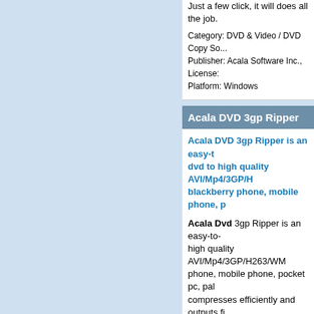Just a few click, it will does all the job.
Category: DVD & Video / DVD Copy Software
Publisher: Acala Software Inc., License:
Platform: Windows
Acala DVD 3gp Ripper
Acala DVD 3gp Ripper is an easy-to-use dvd to high quality AVI/Mp4/3GP/H... blackberry phone, mobile phone, p...
Acala Dvd 3gp Ripper is an easy-to-... high quality AVI/Mp4/3GP/H263/WMV... phone, mobile phone, pocket pc, pal... compresses efficiently and outputs fi...
Category: DVD & Video / Video Tools
Publisher: Acala Software Inc., License:
Platform: Windows
Acala DVD Audio Ripper
Acala DVD Audio Ripper is an easy-... tracks and transcode to mp3/wma... favor DVDs audio tracks to be mob...
Acala Dvd Audio Ripper is an easy-t... and transcode to mp3/wma/mp2/m4a... build-in encoder compresses efficien... Ripper, you are able to rip Dvd audio...